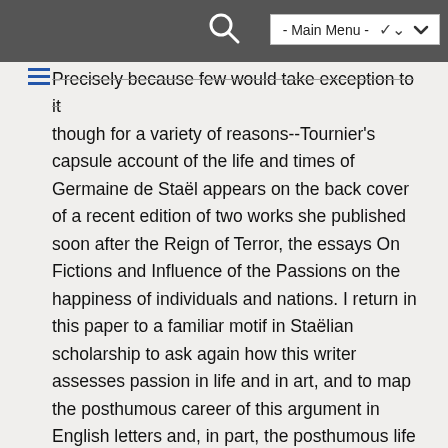- Main Menu -
Precisely because few would take exception to it though for a variety of reasons--Tournier's capsule account of the life and times of Germaine de Staël appears on the back cover of a recent edition of two works she published soon after the Reign of Terror, the essays On Fictions and Influence of the Passions on the happiness of individuals and nations. I return in this paper to a familiar motif in Staëlian scholarship to ask again how this writer assesses passion in life and in art, and to map the posthumous career of this argument in English letters and, in part, the posthumous life those letters covertly give back to Staël. My analysis considers how and why she is explicit or covert in her assessment of the relation between women and passion, and how subsequent English writers take up these matters in the figure of women.